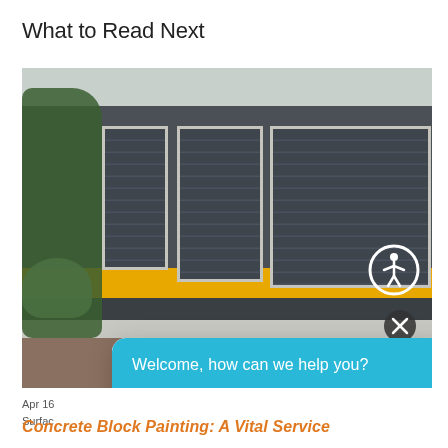What to Read Next
[Figure (photo): Exterior of a commercial building with dark grey walls and garage doors featuring a yellow horizontal stripe, with trees and bushes on the left side. A chat widget overlay says 'Welcome, how can we help you?' with an input field 'Write your message...']
Apr 16
Surfac
Concrete Block Painting: A Vital Service